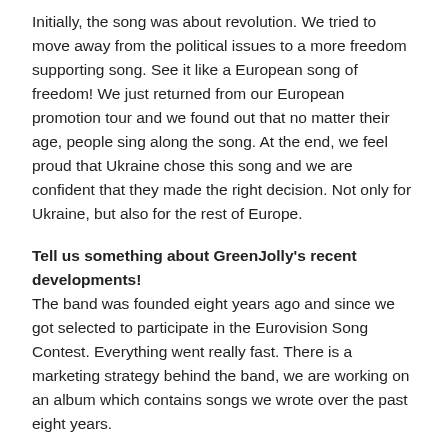Initially, the song was about revolution. We tried to move away from the political issues to a more freedom supporting song. See it like a European song of freedom! We just returned from our European promotion tour and we found out that no matter their age, people sing along the song. At the end, we feel proud that Ukraine chose this song and we are confident that they made the right decision. Not only for Ukraine, but also for the rest of Europe.
Tell us something about GreenJolly's recent developments! The band was founded eight years ago and since we got selected to participate in the Eurovision Song Contest. Everything went really fast. There is a marketing strategy behind the band, we are working on an album which contains songs we wrote over the past eight years.
The organisation of this year's Eurovision Song Contest has not been easy for your country. What is your conclusion on the organisation of this event?